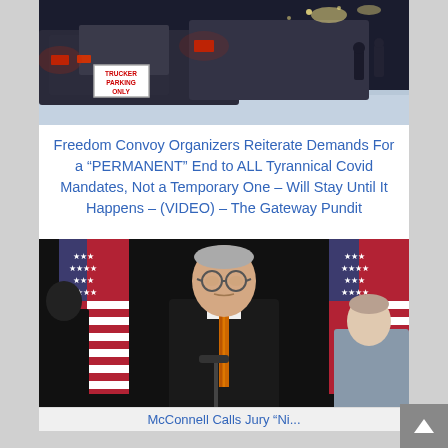[Figure (photo): Night/winter scene with trucks in a snowy parking lot, red lights visible, a sign reading TRUCKER PARKING ONLY, people in background]
Freedom Convoy Organizers Reiterate Demands For a “PERMANENT” End to ALL Tyrannical Covid Mandates, Not a Temporary One – Will Stay Until It Happens – (VIDEO) – The Gateway Pundit
[Figure (photo): Mitch McConnell at a press conference with American flags in background and a woman to his right]
McConnell Calls Jury “Ni...